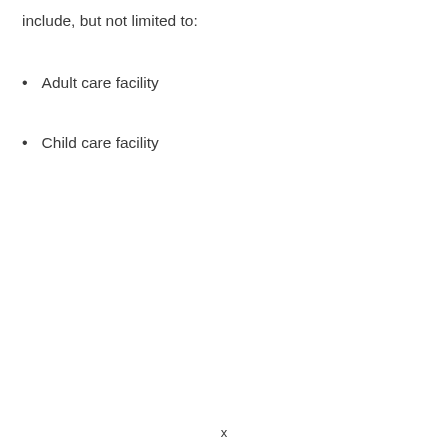include, but not limited to:
Adult care facility
Child care facility
x